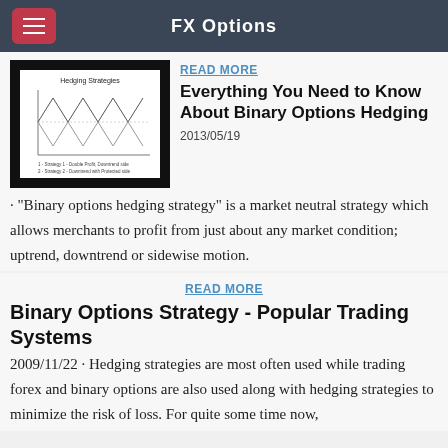FX Options
[Figure (illustration): Thumbnail image with black background showing a 'Hedging Strategies' chart with zigzag line patterns on white background]
READ MORE
Everything You Need to Know About Binary Options Hedging
2013/05/19 · "Binary options hedging strategy" is a market neutral strategy which allows merchants to profit from just about any market condition; uptrend, downtrend or sidewise motion.
READ MORE
Binary Options Strategy - Popular Trading Systems
2009/11/22 · Hedging strategies are most often used while trading forex and binary options are also used along with hedging strategies to minimize the risk of loss. For quite some time now,